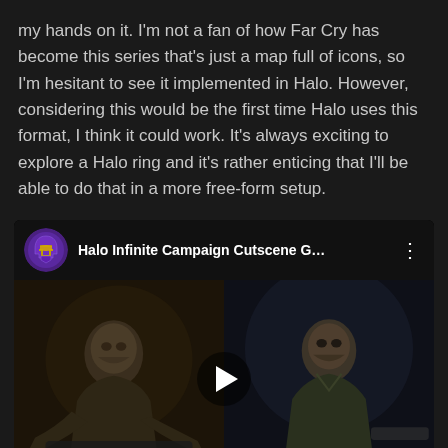my hands on it. I'm not a fan of how Far Cry has become this series that's just a map full of icons, so I'm hesitant to see it implemented in Halo. However, considering this would be the first time Halo uses this format, I think it could work. It's always exciting to explore a Halo ring and it's rather enticing that I'll be able to do that in a more free-form setup.
[Figure (screenshot): Embedded YouTube video player showing 'Halo Infinite Campaign Cutscene G...' with a channel icon (purple Halo spartan helmet logo), video title, three-dot menu, and a split thumbnail showing two scenes of a bearded man with a play button overlay in the center.]